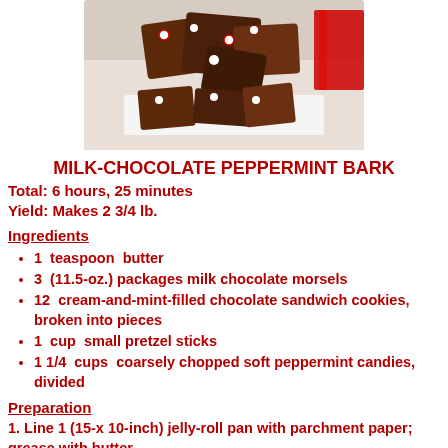[Figure (photo): Photo of milk-chocolate peppermint bark pieces with crushed candy canes on a white surface, with red ribbon in background]
MILK-CHOCOLATE PEPPERMINT BARK
Total: 6 hours, 25 minutes
Yield: Makes 2 3/4 lb.
Ingredients
1  teaspoon  butter
3  (11.5-oz.) packages milk chocolate morsels
12  cream-and-mint-filled chocolate sandwich cookies, broken into pieces
1  cup  small pretzel sticks
1 1/4  cups  coarsely chopped soft peppermint candies, divided
Preparation
1. Line 1 (15-x 10-inch) jelly-roll pan with parchment paper; grease with butter.
2. Microwave milk chocolate morsels in a large bowl at